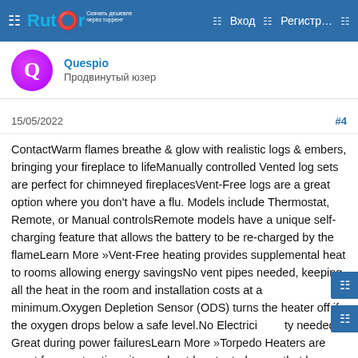Rutor — Вход — Регистр...
Продвинутый юзер
15/05/2022  #4
ContactWarm flames breathe & glow with realistic logs & embers, bringing your fireplace to lifeManually controlled Vented log sets are perfect for chimneyed fireplacesVent-Free logs are a great option where you don't have a flu. Models include Thermostat, Remote, or Manual controlsRemote models have a unique self-charging feature that allows the battery to be re-charged by the flameLearn More »Vent-Free heating provides supplemental heat to rooms allowing energy savingsNo vent pipes needed, keeping all the heat in the room and installation costs at a minimum.Oxygen Depletion Sensor (ODS) turns the heater off if the oxygen drops below a safe level.No Electricity needed. Great during power failuresLearn More »Torpedo Heaters are great for construction sites and outdoor tented areas that have good ventilation.High Quality Danfoss Gear pumpAutomatic ignitionOver Heat ProtectionElectronic